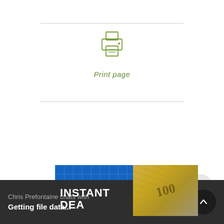[Figure (illustration): Print page icon (printer SVG) with a green 'Print page' label in italic below it, centered between two horizontal rules]
Print page
[Figure (photo): Advertisement banner showing 'INSTANT DEAL' text over a blue grid background with money/cash imagery on the right side]
Chris Prefontaine chats with
Getting file data...